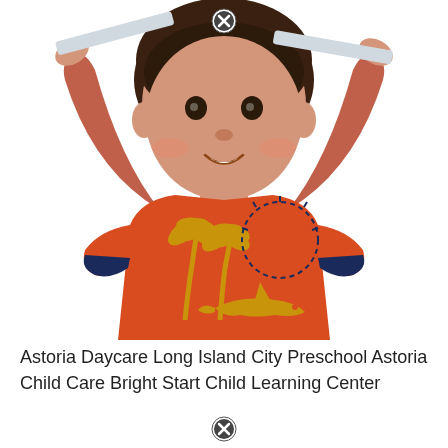[Figure (photo): A young boy smiling and holding a thin board or ruler above his head with both hands raised. He is wearing an orange short-sleeve t-shirt with yellow palm trees, a sun, and a yellow shark printed on it with navy blue trim on the sleeves. White background.]
Astoria Daycare Long Island City Preschool Astoria Child Care Bright Start Child Learning Center